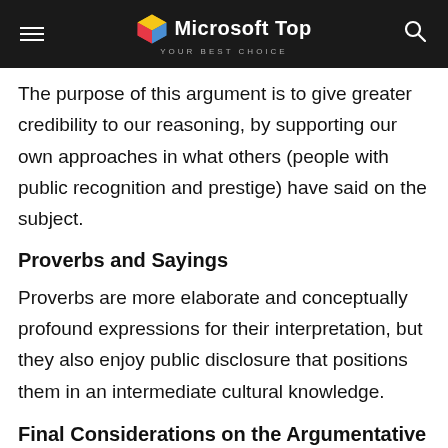Microsoft Top — YOUR BEST CHOICE
The purpose of this argument is to give greater credibility to our reasoning, by supporting our own approaches in what others (people with public recognition and prestige) have said on the subject.
Proverbs and Sayings
Proverbs are more elaborate and conceptually profound expressions for their interpretation, but they also enjoy public disclosure that positions them in an intermediate cultural knowledge.
Final Considerations on the Argumentative Essay